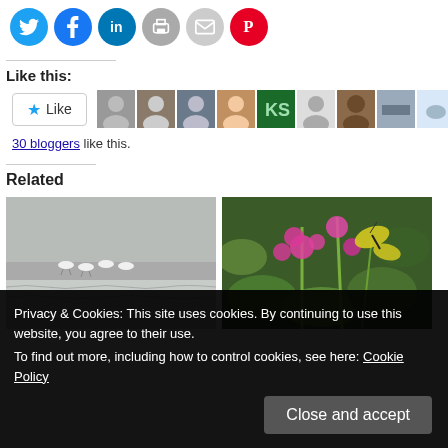[Figure (other): Row of social sharing icon buttons: Twitter (blue bird), Facebook (blue f), LinkedIn (blue in), Print (gray printer), Email (gray envelope), Pinterest (red P)]
Like this:
[Figure (other): Like button with star icon and row of blogger avatar thumbnails (10 shown)]
30 bloggers like this.
Related
[Figure (photo): Photo of white birds (seagulls/waders) on a gray lake or beach shore]
[Figure (photo): Photo of pink/magenta flowers with a yellow and black swallowtail butterfly among green leaves]
Privacy & Cookies: This site uses cookies. By continuing to use this website, you agree to their use.
To find out more, including how to control cookies, see here: Cookie Policy